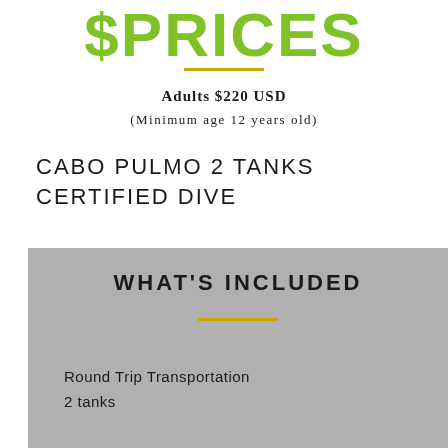$PRICES
Adults $220 USD
(Minimum age 12 years old)
CABO PULMO 2 TANKS CERTIFIED DIVE
WHAT'S INCLUDED
Round Trip Transportation
2 tanks